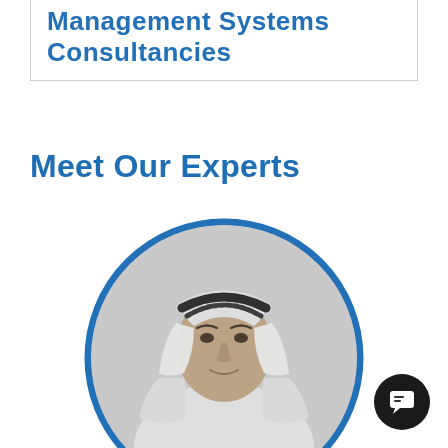Management Systems Consultancies
Meet Our Experts
[Figure (photo): Black and white circular portrait photograph of a man wearing traditional Gulf Arab attire (white thobe and black agal/keffiyeh), with a blue circular border frame around the photo.]